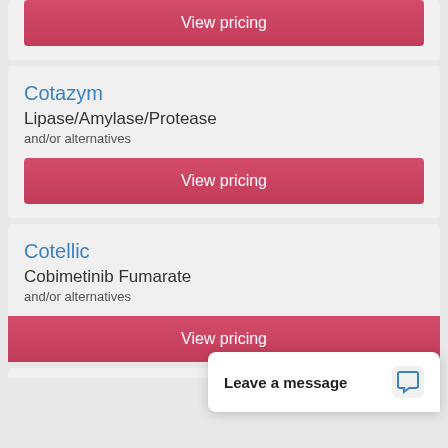View pricing
Cotazym
Lipase/Amylase/Protease
and/or alternatives
View pricing
Cotellic
Cobimetinib Fumarate
and/or alternatives
View pricing
Leave a message